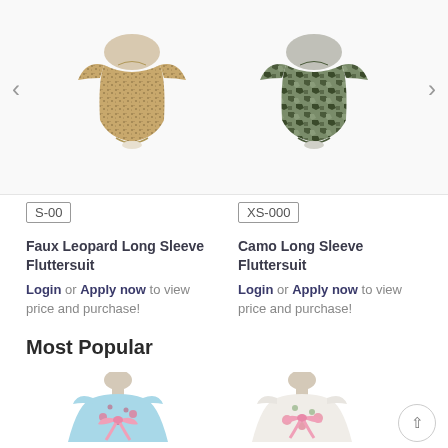[Figure (photo): Carousel showing two baby/toddler swimsuits: a faux leopard print long sleeve fluttersuit on the left and a camo print long sleeve fluttersuit on the right, on mannequins. Navigation arrows on left and right sides.]
S-00
Faux Leopard Long Sleeve Fluttersuit
Login or Apply now to view price and purchase!
XS-000
Camo Long Sleeve Fluttersuit
Login or Apply now to view price and purchase!
Most Popular
[Figure (photo): Two baby/toddler dresses on mannequins: left is a light blue floral dress with pink bow, right is a white/floral dress with pink bow. Part of Most Popular section.]